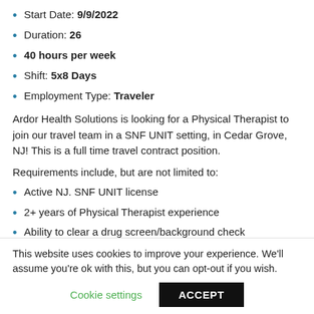Start Date: 9/9/2022
Duration: 26
40 hours per week
Shift: 5x8 Days
Employment Type: Traveler
Ardor Health Solutions is looking for a Physical Therapist to join our travel team in a SNF UNIT setting, in Cedar Grove, NJ! This is a full time travel contract position.
Requirements include, but are not limited to:
Active NJ. SNF UNIT license
2+ years of Physical Therapist experience
Ability to clear a drug screen/background check
This position begins on 08/08/2022 and ends on 02/06/2023
This website uses cookies to improve your experience. We'll assume you're ok with this, but you can opt-out if you wish.